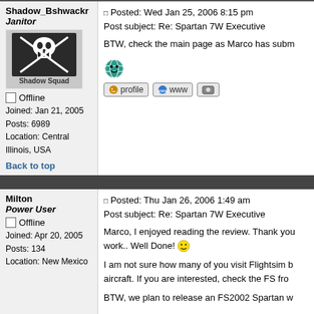Shadow_Bshwackr
Janitor
[Figure (illustration): Shadow Squad pirate skull logo with crossed swords on a flag, text 'Shadow Squad' below]
Offline
Joined: Jan 21, 2005
Posts: 6989
Location: Central Illinois, USA
Back to top
Posted: Wed Jan 25, 2006 8:15 pm
Post subject: Re: Spartan 7W Executive
BTW, check the main page as Marco has subm
Milton
Power User
Offline
Joined: Apr 20, 2005
Posts: 134
Location: New Mexico
Posted: Thu Jan 26, 2006 1:49 am
Post subject: Re: Spartan 7W Executive
Marco, I enjoyed reading the review. Thank you work.. Well Done!
I am not sure how many of you visit Flightsim b aircraft. If you are interested, check the FS fro
BTW, we plan to release an FS2002 Spartan w
Thank you everyone for your nice comments